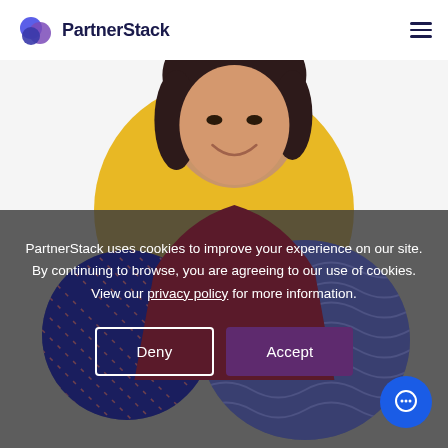[Figure (logo): PartnerStack logo with stylized overlapping blue and purple circles icon and bold dark navy wordmark text]
[Figure (photo): Website screenshot showing a smiling woman with dark hair against decorative yellow, navy and slate-blue circular shapes, with a cookie consent overlay on the lower half]
PartnerStack uses cookies to improve your experience on our site. By continuing to browse, you are agreeing to our use of cookies. View our privacy policy for more information.
[Figure (other): Deny button (outlined, transparent) and Accept button (dark purple filled) for cookie consent]